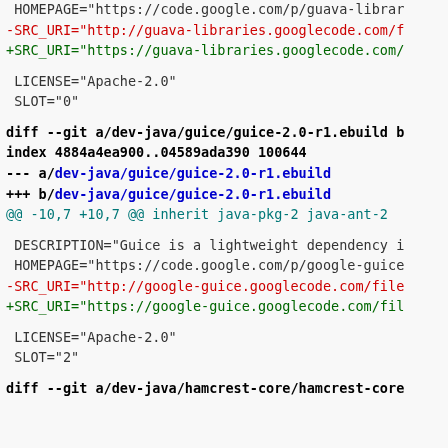HOMEPAGE="https://code.google.com/p/guava-librar
-SRC_URI="http://guava-libraries.googlecode.com/f
+SRC_URI="https://guava-libraries.googlecode.com/
LICENSE="Apache-2.0"
SLOT="0"
diff --git a/dev-java/guice/guice-2.0-r1.ebuild b
index 4884a4ea900..04589ada390 100644
--- a/dev-java/guice/guice-2.0-r1.ebuild
+++ b/dev-java/guice/guice-2.0-r1.ebuild
@@ -10,7 +10,7 @@ inherit java-pkg-2 java-ant-2
DESCRIPTION="Guice is a lightweight dependency i
HOMEPAGE="https://code.google.com/p/google-guice
-SRC_URI="http://google-guice.googlecode.com/file
+SRC_URI="https://google-guice.googlecode.com/fil
LICENSE="Apache-2.0"
SLOT="2"
diff --git a/dev-java/hamcrest-core/hamcrest-core